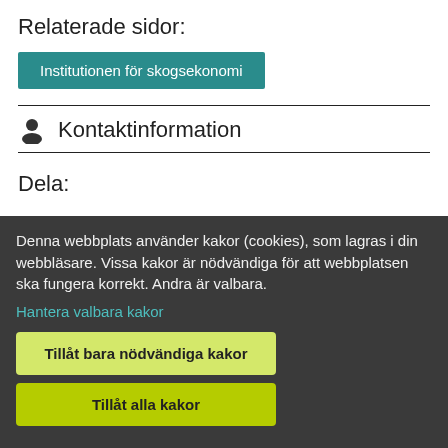Relaterade sidor:
Institutionen för skogsekonomi
Kontaktinformation
Dela:
[Figure (screenshot): Social sharing buttons: E-POST (email), Facebook, LinkedIn, Twitter icons, partially visible]
Denna webbplats använder kakor (cookies), som lagras i din webbläsare. Vissa kakor är nödvändiga för att webbplatsen ska fungera korrekt. Andra är valbara.
Hantera valbara kakor
Tillåt bara nödvändiga kakor
Tillåt alla kakor